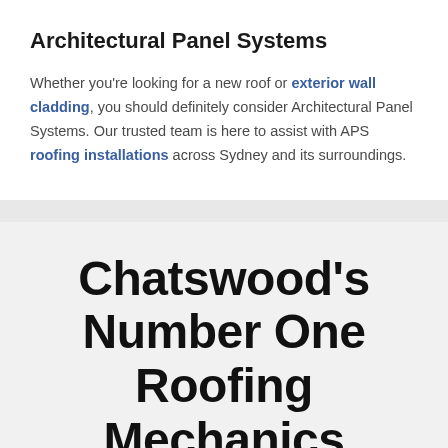Architectural Panel Systems
Whether you’re looking for a new roof or exterior wall cladding, you should definitely consider Architectural Panel Systems. Our trusted team is here to assist with APS roofing installations across Sydney and its surroundings.
Chatswood’s Number One Roofing Mechanics